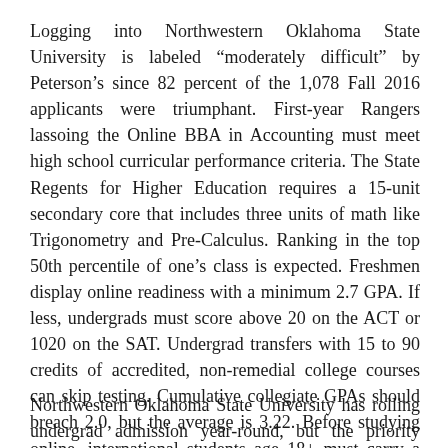Logging into Northwestern Oklahoma State University is labeled “moderately difficult” by Peterson’s since 82 percent of the 1,078 Fall 2016 applicants were triumphant. First-year Rangers lassoing the Online BBA in Accounting must meet high school curricular performance criteria. The State Regents for Higher Education requires a 15-unit secondary core that includes three units of math like Trigonometry and Pre-Calculus. Ranking in the top 50th percentile of one’s class is expected. Freshmen display online readiness with a minimum 2.7 GPA. If less, undergrads must score above 20 on the ACT or 1020 on the SAT. Undergrad transfers with 15 to 90 credits of accredited, non-remedial college courses can skip testing. Cumulative collegiate GPAs should breach 2.0, but the average is 3.22. Before studying online, international students age 18+ must carry a “B” average and score at least 68 on the TOEFL iBT.
Northwestern Oklahoma State University has rolling undergrad admission year-round, but the priority deadline